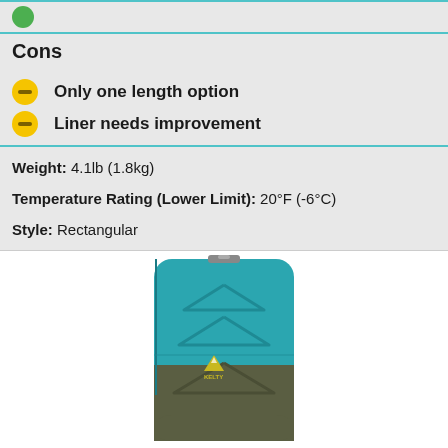(green circle icon)
Cons
Only one length option
Liner needs improvement
Weight: 4.1lb (1.8kg)
Temperature Rating (Lower Limit): 20°F (-6°C)
Style: Rectangular
[Figure (photo): Kelty rectangular sleeping bag in teal/blue and olive/dark green colors, shown rolled/packed upright]